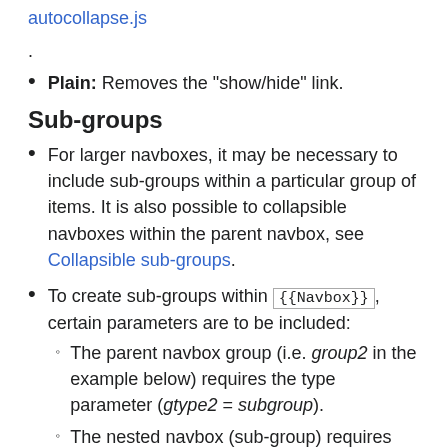autocollapse.js.
Plain: Removes the "show/hide" link.
Sub-groups
For larger navboxes, it may be necessary to include sub-groups within a particular group of items. It is also possible to collapsible navboxes within the parent navbox, see Collapsible sub-groups.
To create sub-groups within {{Navbox}}, certain parameters are to be included:
The parent navbox group (i.e. group2 in the example below) requires the type parameter (gtype2 = subgroup).
The nested navbox (sub-group) requires the